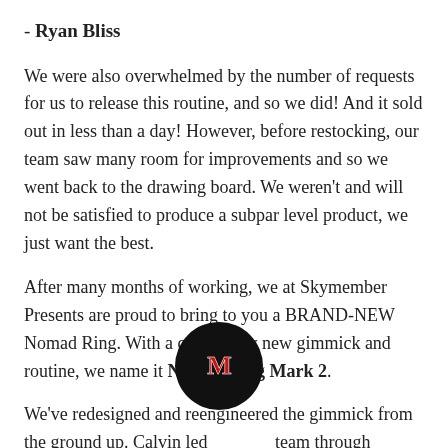- Ryan Bliss
We were also overwhelmed by the number of requests for us to release this routine, and so we did! And it sold out in less than a day! However, before restocking, our team saw many room for improvements and so we went back to the drawing board. We weren't and will not be satisfied to produce a subpar level product, we just want the best.
After many months of working, we at Skymember Presents are proud to bring to you a BRAND-NEW Nomad Ring. With a completely new gimmick and routine, we name it Nomad Ring Mark 2.
We've redesigned and reengineered the gimmick from the ground up. Calvin led [team] through countless it [flag] USD [arrow] l the b[est p]ossible material in order to craft the best gimmick.
[Figure (logo): Black circular logo with stylized M in red and white]